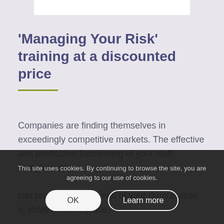[Figure (photo): Partial image at top of page, cropped — likely a person or logo graphic, white background]
'Managing Your Risk' training at a discounted price
Companies are finding themselves in exceedingly competitive markets. The effective and productive functioning of your staff complement can promote the survival of your organisation in today's marketplace.
Managers and... are directly involved with labour problems on a daily basis. BIG
This site uses cookies. By continuing to browse the site, you are agreeing to our use of cookies.